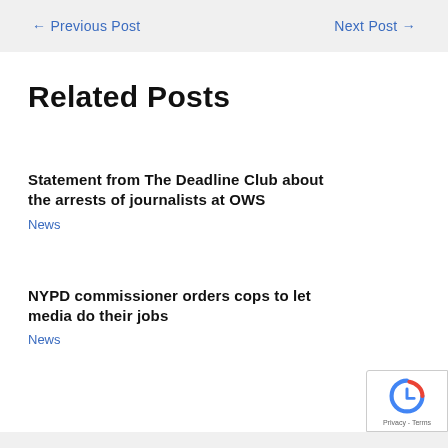← Previous Post    Next Post →
Related Posts
Statement from The Deadline Club about the arrests of journalists at OWS
News
NYPD commissioner orders cops to let media do their jobs
News